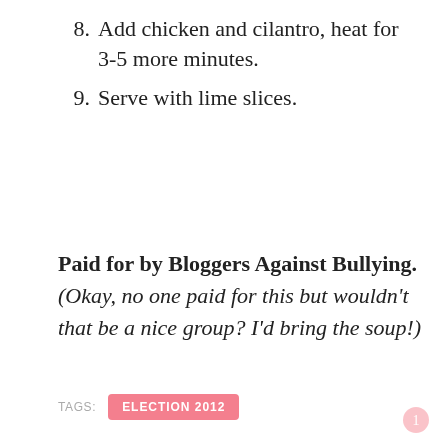8. Add chicken and cilantro, heat for 3-5 more minutes.
9. Serve with lime slices.
Paid for by Bloggers Against Bullying.  (Okay, no one paid for this but wouldn’t that be a nice group?  I’d bring the soup!)
TAGS: ELECTION 2012